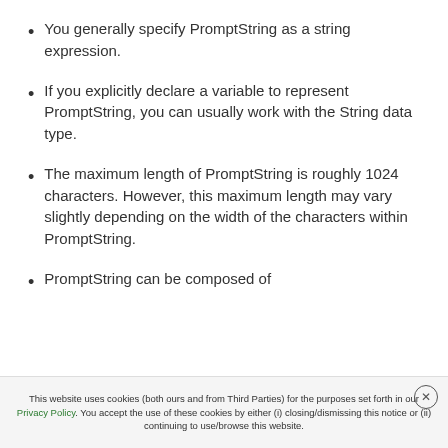You generally specify PromptString as a string expression.
If you explicitly declare a variable to represent PromptString, you can usually work with the String data type.
The maximum length of PromptString is roughly 1024 characters. However, this maximum length may vary slightly depending on the width of the characters within PromptString.
PromptString can be composed of
This website uses cookies (both ours and from Third Parties) for the purposes set forth in our Privacy Policy. You accept the use of these cookies by either (i) closing/dismissing this notice or (ii) continuing to use/browse this website.